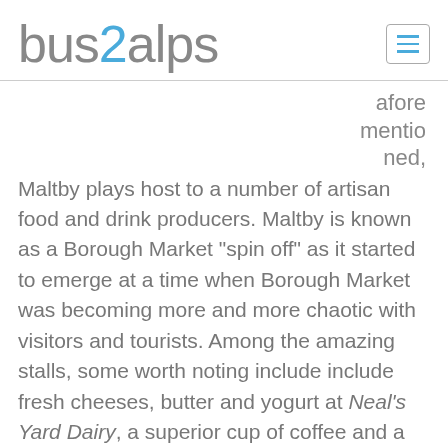bus2alps
aforementioned, Maltby plays host to a number of artisan food and drink producers. Maltby is known as a Borough Market “spin off” as it started to emerge at a time when Borough Market was becoming more and more chaotic with visitors and tourists. Among the amazing stalls, some worth noting include include fresh cheeses, butter and yogurt at Neal’s Yard Dairy, a superior cup of coffee and a pastery from Monmouth Coffee, and famous Serrano ham